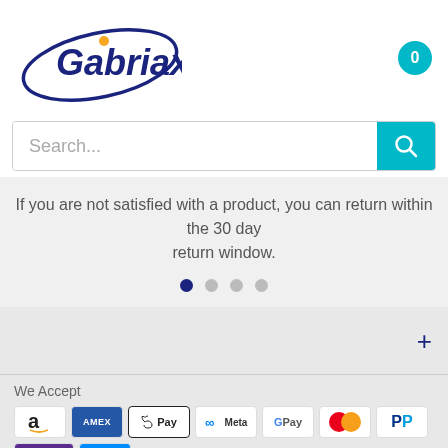[Figure (logo): Gabriax brand logo with dark blue stylized text and orange dot accent, encircled by a dark blue ellipse orbit]
0
Search...
If you are not satisfied with a product, you can return within the 30 day return window.
+
We Accept